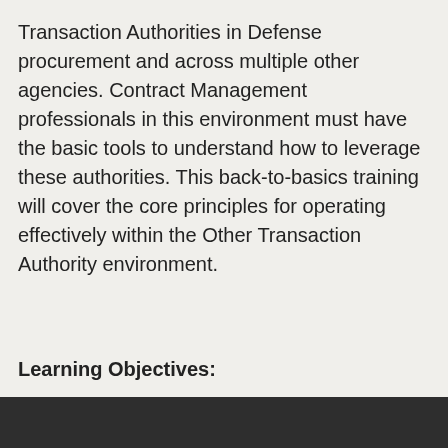Transaction Authorities in Defense procurement and across multiple other agencies. Contract Management professionals in this environment must have the basic tools to understand how to leverage these authorities. This back-to-basics training will cover the core principles for operating effectively within the Other Transaction Authority environment.
Learning Objectives:
This site uses cookies for the best possible user experience. Privacy Policy
Reject Cookies    OK
environment